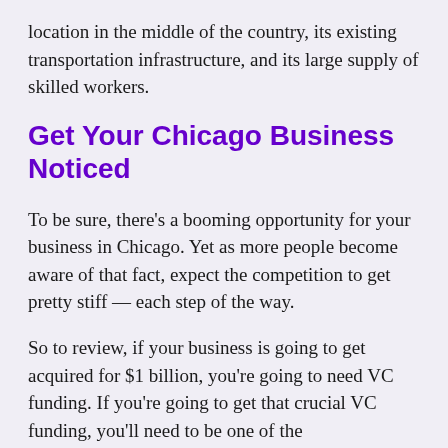location in the middle of the country, its existing transportation infrastructure, and its large supply of skilled workers.
Get Your Chicago Business Noticed
To be sure, there’s a booming opportunity for your business in Chicago. Yet as more people become aware of that fact, expect the competition to get pretty stiff — each step of the way.
So to review, if your business is going to get acquired for $1 billion, you’re going to need VC funding. If you’re going to get that crucial VC funding, you’ll need to be one of the